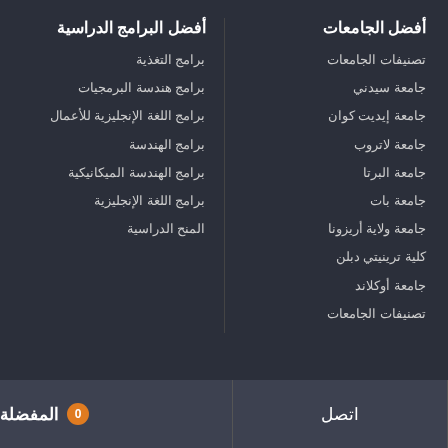أفضل الجامعات
تصنيفات الجامعات
جامعة سيدني
جامعة إيديت كوان
جامعة لاتروب
جامعة البرتا
جامعة بات
جامعة ولاية أريزونا
كلية ترينيتي دبلن
جامعة أوكلاند
تصنيفات الجامعات
أفضل البرامج الدراسية
برامج التغذية
برامج هندسة البرمجيات
برامج اللغة الإنجليزية للأعمال
برامج الهندسة
برامج الهندسة الميكانيكية
برامج اللغة الإنجليزية
المنح الدراسية
المفضلة 0
اتصل